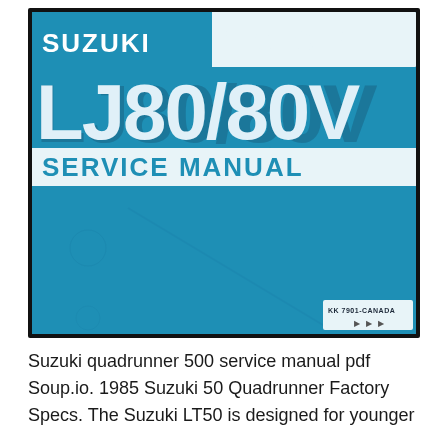[Figure (photo): Cover of Suzuki LJ80/80V Service Manual. Blue cover with 'SUZUKI' in white text at top left, large bold 'LJ80/80V' text in the center-upper area, 'SERVICE MANUAL' in white bold text below, and a catalog number 'KK 7901-CANADA' in the bottom right corner. A watermark 'PHOTO BY' appears in transparent text across the upper right area.]
Suzuki quadrunner 500 service manual pdf Soup.io. 1985 Suzuki 50 Quadrunner Factory Specs. The Suzuki LT50 is designed for younger